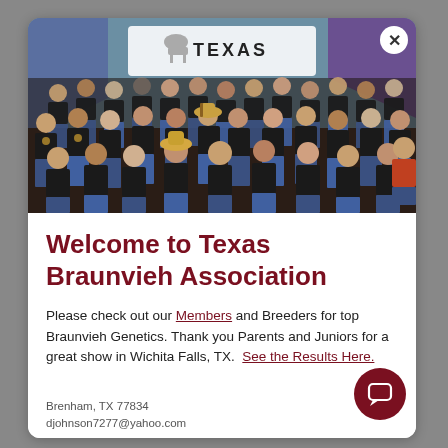[Figure (photo): Group photo of many children and youth wearing matching black t-shirts in front of a Texas Braunvieh banner with a cattle silhouette logo. People are arranged in multiple rows.]
Welcome to Texas Braunvieh Association
Please check out our Members and Breeders for top Braunvieh Genetics. Thank you Parents and Juniors for a great show in Wichita Falls, TX. See the Results Here.
Brenham, TX 77834
djohnson7277@yahoo.com